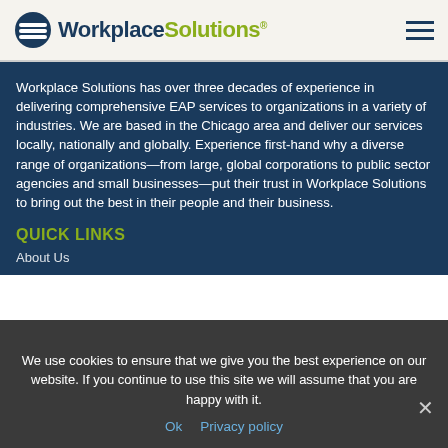WorkplaceSolutions® [logo with hamburger menu]
Workplace Solutions has over three decades of experience in delivering comprehensive EAP services to organizations in a variety of industries. We are based in the Chicago area and deliver our services locally, nationally and globally. Experience first-hand why a diverse range of organizations—from large, global corporations to public sector agencies and small businesses—put their trust in Workplace Solutions to bring out the best in their people and their business.
QUICK LINKS
About Us
We use cookies to ensure that we give you the best experience on our website. If you continue to use this site we will assume that you are happy with it.
Ok   Privacy policy